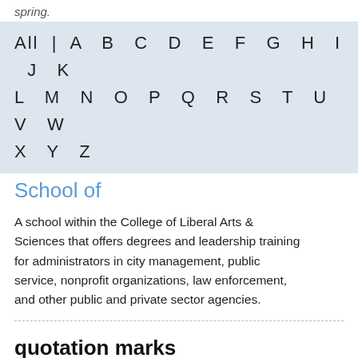spring.
All | A B C D E F G H I J K L M N O P Q R S T U V W X Y Z
School of
A school within the College of Liberal Arts & Sciences that offers degrees and leadership training for administrators in city management, public service, nonprofit organizations, law enforcement, and other public and private sector agencies.
quotation marks
See composition titles for guidelines on formatting book, movie, and play titles, poems, lectures etc.
Do not use quotes for titles such as Best Teacher of